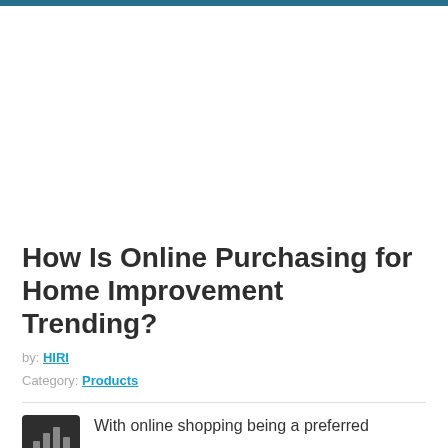How Is Online Purchasing for Home Improvement Trending?
by: HIRI
Category: Products
With online shopping being a preferred